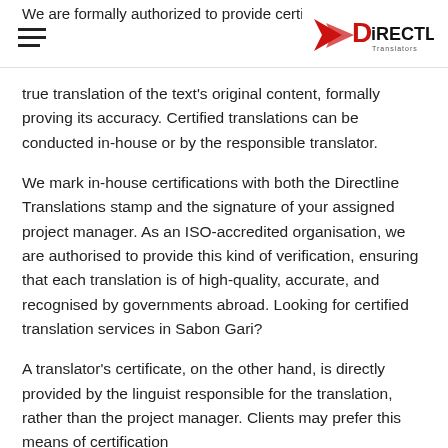We are formally authorized to provide certified translation
[Figure (logo): DirectLine Translators logo with red arrow/chevron and black text]
true translation of the text’s original content, formally proving its accuracy. Certified translations can be conducted in-house or by the responsible translator.
We mark in-house certifications with both the Directline Translations stamp and the signature of your assigned project manager. As an ISO-accredited organisation, we are authorised to provide this kind of verification, ensuring that each translation is of high-quality, accurate, and recognised by governments abroad. Looking for certified translation services in Sabon Gari?
A translator’s certificate, on the other hand, is directly provided by the linguist responsible for the translation, rather than the project manager. Clients may prefer this means of certification